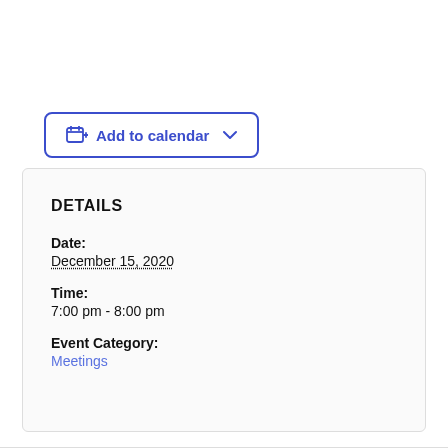[Figure (other): Add to calendar button with calendar icon and chevron dropdown indicator]
DETAILS
Date:
December 15, 2020
Time:
7:00 pm - 8:00 pm
Event Category:
Meetings